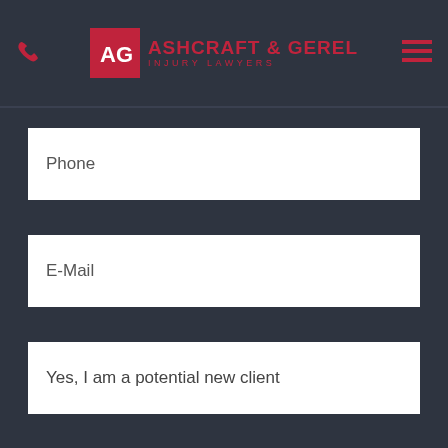Ashcraft & Gerel Injury Lawyers
Phone
E-Mail
Yes, I am a potential new client
Tell us about your case